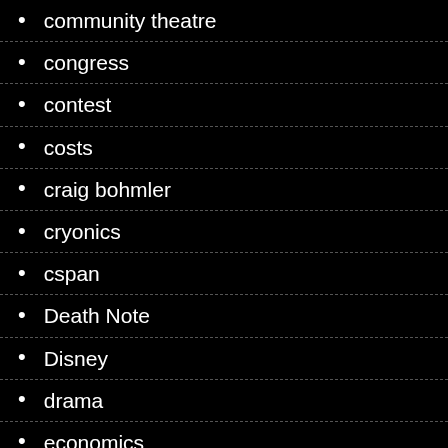community theatre
congress
contest
costs
craig bohmler
cryonics
cspan
Death Note
Disney
drama
economics
EDM musical